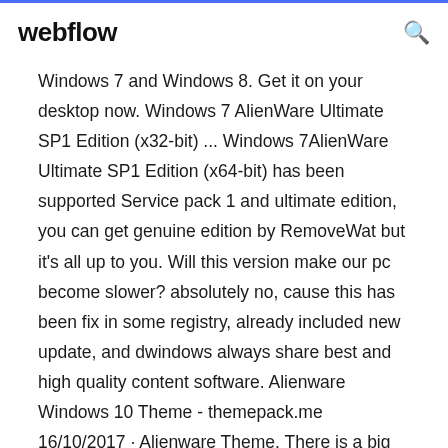webflow
Windows 7 and Windows 8. Get it on your desktop now. Windows 7 AlienWare Ultimate SP1 Edition (x32-bit) ... Windows 7AlienWare Ultimate SP1 Edition (x64-bit) has been supported Service pack 1 and ultimate edition, you can get genuine edition by RemoveWat but it's all up to you. Will this version make our pc become slower? absolutely no, cause this has been fix in some registry, already included new update, and dwindows always share best and high quality content software. Alienware Windows 10 Theme - themepack.me 16/10/2017 · Alienware Theme. There is a big chance that you would like to see something different...